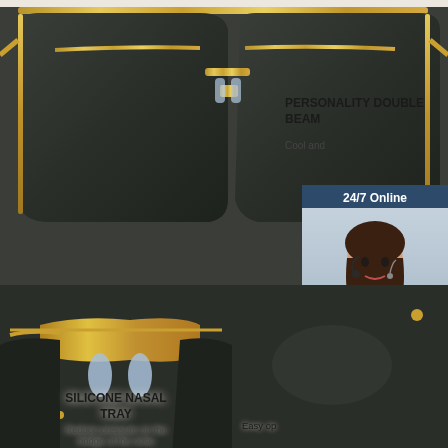[Figure (photo): Close-up photo of gold-frame aviator sunglasses with dark green lenses, showing top double bridge beam, gold nose bridge and arms]
PERSONALITY DOUBLE BEAM
Cool and
[Figure (photo): Customer service agent woman with headset smiling, with 24/7 Online text and dark blue panel background]
24/7 Online
Click here for free chat !
QUOTATION
[Figure (photo): Close-up of gold nose bridge with silicone nasal pads on sunglasses]
SILICONE NASAL TRAY
Reduce pressure on the bridge of the nose
[Figure (photo): Close-up of dark sunglasses lens corner]
Easy op
[Figure (photo): Two black rubber anti-skid temple legs of sunglasses crossing diagonally on beige background, with orange ANTISKID TOP logo and mirror icon]
ANTISKID TOP
MIRROR LEG
Increase wearing firmness